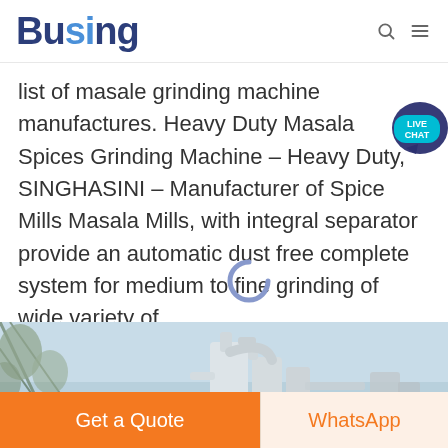Busing
list of masale grinding machine manufactures. Heavy Duty Masala Spices Grinding Machine - Heavy Duty, SINGHASINI - Manufacturer of Spice Mills Masala Mills, with integral separator provide an automatic dust free complete system for medium to fine grinding of wide variety of
KEEP READING
[Figure (photo): Industrial white pipe machinery / grinding mill equipment against a blue sky with tree branches visible on the left]
Get a Quote
WhatsApp